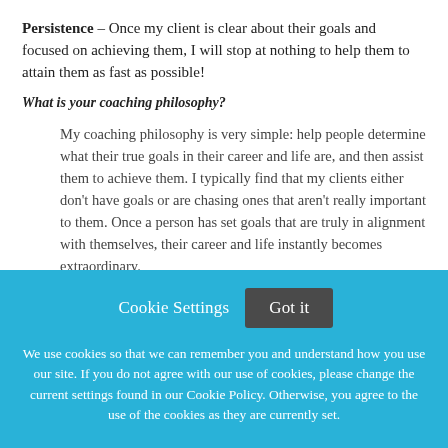Persistence – Once my client is clear about their goals and focused on achieving them, I will stop at nothing to help them to attain them as fast as possible!
What is your coaching philosophy?
My coaching philosophy is very simple: help people determine what their true goals in their career and life are, and then assist them to achieve them. I typically find that my clients either don't have goals or are chasing ones that aren't really important to them. Once a person has set goals that are truly in alignment with themselves, their career and life instantly becomes extraordinary.
Cookie Settings   Got it
We use cookies so that we can remember you and understand how you use our site. If you do not agree with our use of cookies, please change the current settings found in our Cookie Policy. Otherwise, you agree to the use of the cookies as they are currently set.